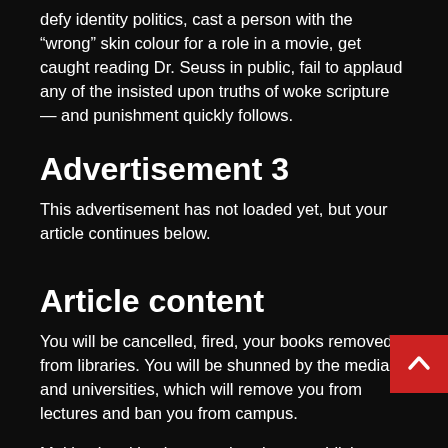defy identity politics, cast a person with the “wrong” skin colour for a role in a movie, get caught reading Dr. Seuss in public, fail to applaud any of the insisted upon truths of woke scripture — and punishment quickly follows.
Advertisement 3
This advertisement has not loaded yet, but your article continues below.
Article content
You will be cancelled, fired, your books removed from libraries. You will be shunned by the media and universities, which will remove you from lectures and ban you from campus.
Multinational businesses that do not publicly declare themselves to have wholly embraced inclusivity and